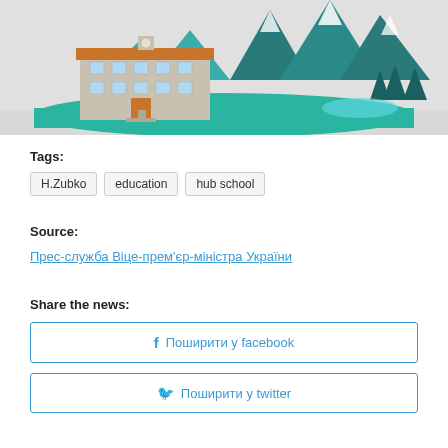[Figure (illustration): Illustration of a school building with mountains, trees, and a lake in the background on a teal oval base, gray sky background.]
Tags:
H.Zubko
education
hub school
Source:
Прес-служба Віце-прем'єр-міністра України
Share the news:
Поширити у facebook
Поширити у twitter